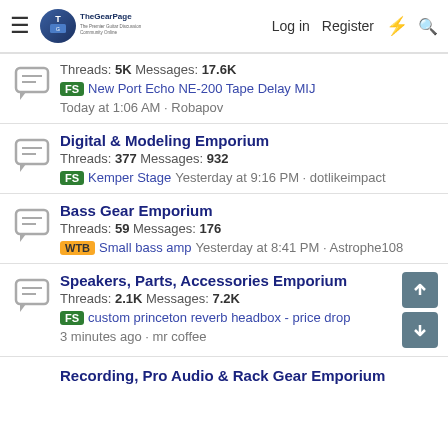The Gear Page - Log in Register
Threads: 5K Messages: 17.6K
FS New Port Echo NE-200 Tape Delay MIJ Today at 1:06 AM · Robapov
Digital & Modeling Emporium
Threads: 377 Messages: 932
FS Kemper Stage Yesterday at 9:16 PM · dotlikeimpact
Bass Gear Emporium
Threads: 59 Messages: 176
WTB Small bass amp Yesterday at 8:41 PM · Astrophe108
Speakers, Parts, Accessories Emporium
Threads: 2.1K Messages: 7.2K
FS custom princeton reverb headbox - price drop 3 minutes ago · mr coffee
Recording, Pro Audio & Rack Gear Emporium